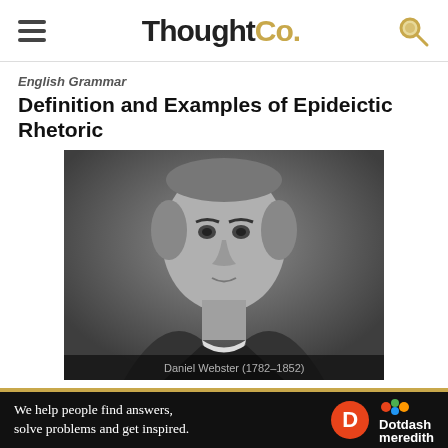ThoughtCo.
English Grammar
Definition and Examples of Epideictic Rhetoric
[Figure (photo): Black and white portrait photograph of an elderly man, partially captioned at the bottom]
English Grammar
AP English Exam: 101 Key Terms
We help people find answers, solve problems and get inspired. Dotdash meredith